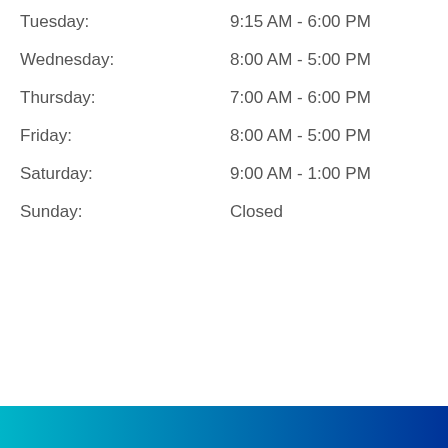Tuesday: 9:15 AM - 6:00 PM
Wednesday: 8:00 AM - 5:00 PM
Thursday: 7:00 AM - 6:00 PM
Friday: 8:00 AM - 5:00 PM
Saturday: 9:00 AM - 1:00 PM
Sunday: Closed